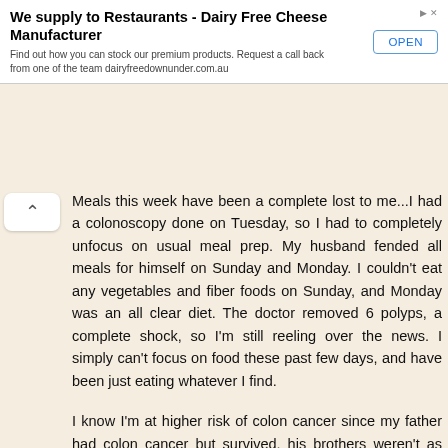[Figure (other): Advertisement banner: 'We supply to Restaurants - Dairy Free Cheese Manufacturer' with OPEN button. Find out how you can stock our premium products. Request a call back from one of the team dairyfreedownunder.com.au]
Meals this week have been a complete lost to me...I had a colonoscopy done on Tuesday, so I had to completely unfocus on usual meal prep. My husband fended all meals for himself on Sunday and Monday. I couldn't eat any vegetables and fiber foods on Sunday, and Monday was an all clear diet. The doctor removed 6 polyps, a complete shock, so I'm still reeling over the news. I simply can't focus on food these past few days, and have been just eating whatever I find.
I know I'm at higher risk of colon cancer since my father had colon cancer but survived, his brothers weren't as lucky. I've been having colonoscopies every five years since I bleed with fissures and have diverticulosis (constipation issues), but no polyps were ever found. I'm trying to keep things in perspective, that maybe finding these polyps is a blessing, because now I'll be getting a screening every 3 years, otherwise if no polyps were found